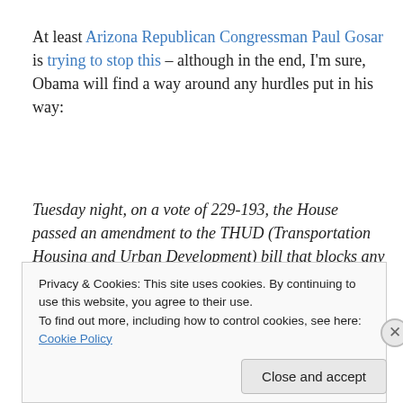At least Arizona Republican Congressman Paul Gosar is trying to stop this – although in the end, I'm sure, Obama will find a way around any hurdles put in his way:
Tuesday night, on a vote of 229-193, the House passed an amendment to the THUD (Transportation Housing and Urban Development) bill that blocks any HUD funding that enforces President Obama's fair housing rule (AFFH). The amendment, offered by Arizona Republican Congressman
Privacy & Cookies: This site uses cookies. By continuing to use this website, you agree to their use. To find out more, including how to control cookies, see here: Cookie Policy